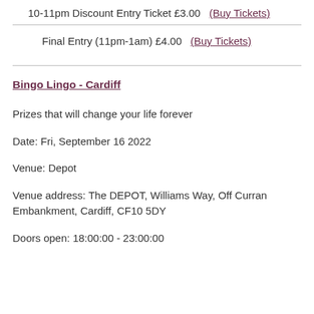10-11pm Discount Entry Ticket £3.00   (Buy Tickets)
Final Entry (11pm-1am) £4.00   (Buy Tickets)
Bingo Lingo - Cardiff
Prizes that will change your life forever
Date: Fri, September 16 2022
Venue: Depot
Venue address: The DEPOT, Williams Way, Off Curran Embankment, Cardiff, CF10 5DY
Doors open: 18:00:00 - 23:00:00